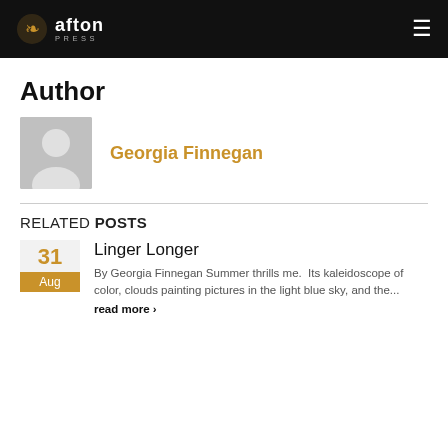afton PRESS
Author
Georgia Finnegan
RELATED POSTS
Linger Longer
By Georgia Finnegan Summer thrills me.  Its kaleidoscope of color, clouds painting pictures in the light blue sky, and the...
read more ›